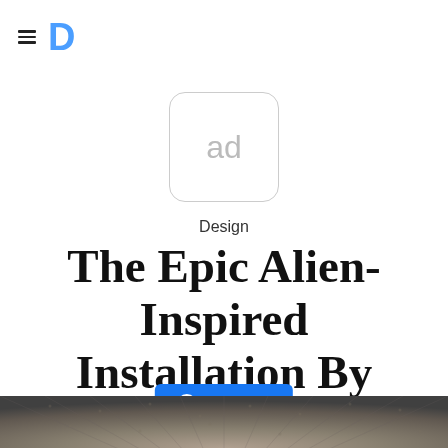D (Design logo with hamburger menu)
[Figure (other): Ad placeholder box with rounded corners showing 'ad' text in light gray]
Design
The Epic Alien-Inspired Installation By Mire Lee
[Figure (other): Facebook Share button with count 23]
[Figure (photo): Bottom portion of an art installation image, showing a textured gray/metallic surface with radial pattern]